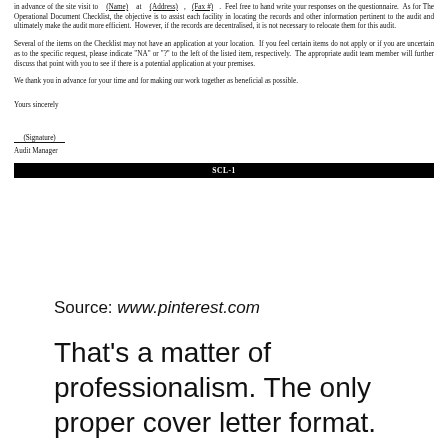in advance of the site visit to ___(Name)___ at ___(Address)___, ___(Fax #)___. Feel free to hand write your responses on the questionnaire. As for The Operational Document Checklist, the objective is to assist each facility in locating the records and other information pertinent to the audit and ultimately make the audit more efficient. However, if the records are decentralised, it is not necessary to relocate them for this audit.
Several of the items on the Checklist may not have an application at your location. If you feel certain items do not apply or if you are uncertain as to the specific request, please indicate "NA" or "?" to the left of the listed item, respectively. The appropriate audit team member will further discuss that point with you to see if there is a potential application at your premises.
We thank you in advance for your time and for making our work together as beneficial as possible.
Yours sincerely
___(Signature)___
Audit Manager
SCL-1
Source: www.pinterest.com
That's a matter of professionalism. The only proper cover letter format.